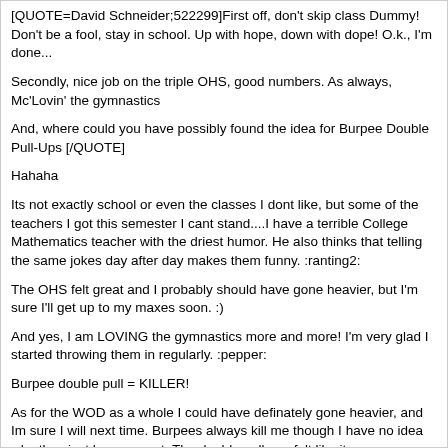[QUOTE=David Schneider;522299]First off, don't skip class Dummy! Don't be a fool, stay in school. Up with hope, down with dope! O.k., I'm done...
Secondly, nice job on the triple OHS, good numbers. As always, Mc'Lovin' the gymnastics
And, where could you have possibly found the idea for Burpee Double Pull-Ups [/QUOTE]
Hahaha
Its not exactly school or even the classes I dont like, but some of the teachers I got this semester I cant stand....I have a terrible College Mathematics teacher with the driest humor. He also thinks that telling the same jokes day after day makes them funny. :ranting2:
The OHS felt great and I probably should have gone heavier, but I'm sure I'll get up to my maxes soon. :)
And yes, I am LOVING the gymnastics more and more! I'm very glad I started throwing them in regularly. :pepper:
Burpee double pull = KILLER!
As for the WOD as a whole I could have definately gone heavier, and Im sure I will next time. Burpees always kill me though I have no idea why they just burn me out. The double pull ups felt like it gave me a chance to catch my breath... DAMN BURPEES!!!